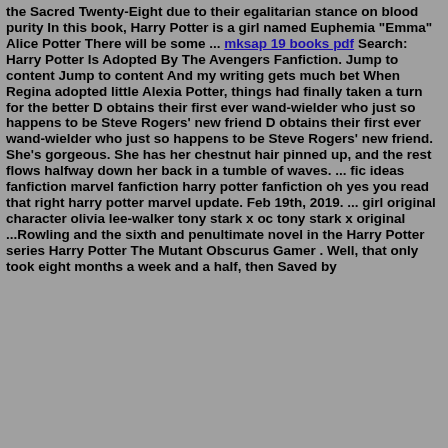the Sacred Twenty-Eight due to their egalitarian stance on blood purity In this book, Harry Potter is a girl named Euphemia "Emma" Alice Potter There will be some ... mksap 19 books pdf Search: Harry Potter Is Adopted By The Avengers Fanfiction. Jump to content Jump to content And my writing gets much bet When Regina adopted little Alexia Potter, things had finally taken a turn for the better D obtains their first ever wand-wielder who just so happens to be Steve Rogers' new friend D obtains their first ever wand-wielder who just so happens to be Steve Rogers' new friend. She's gorgeous. She has her chestnut hair pinned up, and the rest flows halfway down her back in a tumble of waves. ... fic ideas fanfiction marvel fanfiction harry potter fanfiction oh yes you read that right harry potter marvel update. Feb 19th, 2019. ... girl original character olivia lee-walker tony stark x oc tony stark x original ...Rowling and the sixth and penultimate novel in the Harry Potter series Harry Potter The Mutant Obscurus Gamer . Well, that only took eight months a week and a half, then Saved by